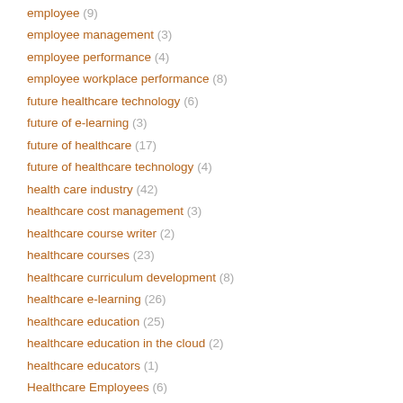employee (9)
employee management (3)
employee performance (4)
employee workplace performance (8)
future healthcare technology (6)
future of e-learning (3)
future of healthcare (17)
future of healthcare technology (4)
health care industry (42)
healthcare cost management (3)
healthcare course writer (2)
healthcare courses (23)
healthcare curriculum development (8)
healthcare e-learning (26)
healthcare education (25)
healthcare education in the cloud (2)
healthcare educators (1)
Healthcare Employees (6)